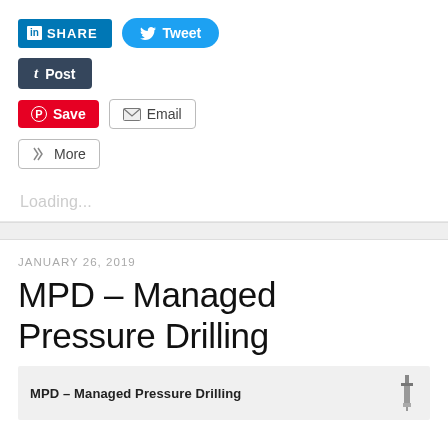[Figure (screenshot): Social media sharing buttons: LinkedIn Share, Twitter Tweet, Tumblr Post, Pinterest Save, Email, More]
Loading...
JANUARY 26, 2019
MPD – Managed Pressure Drilling
[Figure (screenshot): Preview thumbnail with text: MPD – Managed Pressure Drilling and a drilling rig icon]